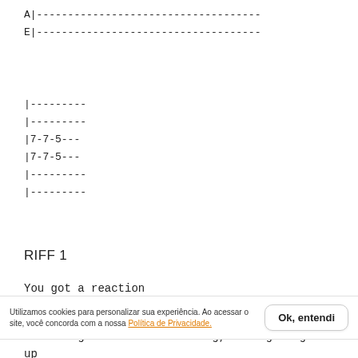A|------------------------------------
E|------------------------------------
|---------
|---------
|7-7-5---
|7-7-5---
|---------
|---------
RIFF 1
You got a reaction
You got a reaction didn't, you?
Utilizamos cookies para personalizar sua experiência. Ao acessar o site, você concorda com a nossa Política de Privacidade.
Something better than nothing, it's giving up